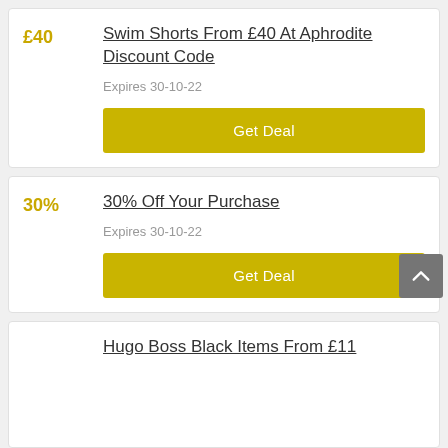Swim Shorts From £40 At Aphrodite Discount Code
£40
Expires 30-10-22
Get Deal
30% Off Your Purchase
30%
Expires 30-10-22
Get Deal
Hugo Boss Black Items From £11